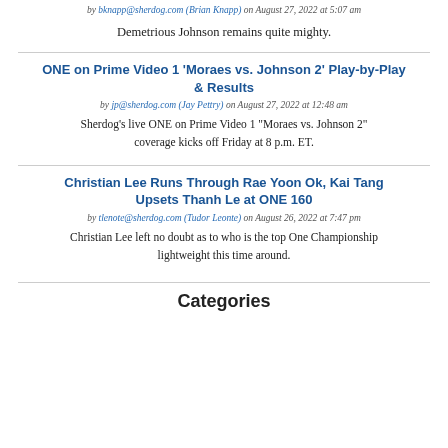by bknapp@sherdog.com (Brian Knapp) on August 27, 2022 at 5:07 am
Demetrious Johnson remains quite mighty.
ONE on Prime Video 1 'Moraes vs. Johnson 2' Play-by-Play & Results
by jp@sherdog.com (Jay Pettry) on August 27, 2022 at 12:48 am
Sherdog’s live ONE on Prime Video 1 “Moraes vs. Johnson 2” coverage kicks off Friday at 8 p.m. ET.
Christian Lee Runs Through Rae Yoon Ok, Kai Tang Upsets Thanh Le at ONE 160
by tlenote@sherdog.com (Tudor Leonte) on August 26, 2022 at 7:47 pm
Christian Lee left no doubt as to who is the top One Championship lightweight this time around.
Categories